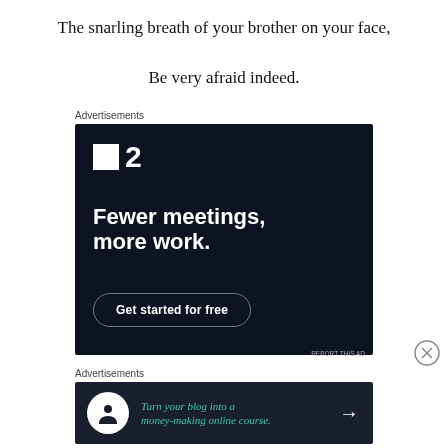The snarling breath of your brother on your face,
Be very afraid indeed.
Advertisements
[Figure (infographic): Dark navy advertisement for a productivity app showing a logo with square icon and number 2, tagline 'Fewer meetings, more work.' and a 'Get started for free' button on dark background.]
Advertisements
[Figure (infographic): Dark advertisement with circular icon showing a person icon and teal italic text 'Turn your blog into a money-making online course.' with a right arrow.]